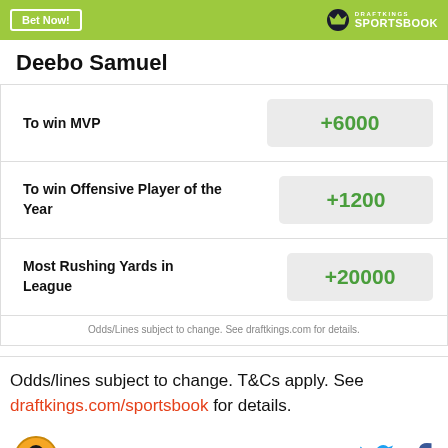Bet Now! | DRAFTKINGS SPORTSBOOK
Deebo Samuel
| Bet | Odds |
| --- | --- |
| To win MVP | +6000 |
| To win Offensive Player of the Year | +1200 |
| Most Rushing Yards in League | +20000 |
Odds/Lines subject to change. See draftkings.com for details.
Odds/lines subject to change. T&Cs apply. See draftkings.com/sportsbook for details.